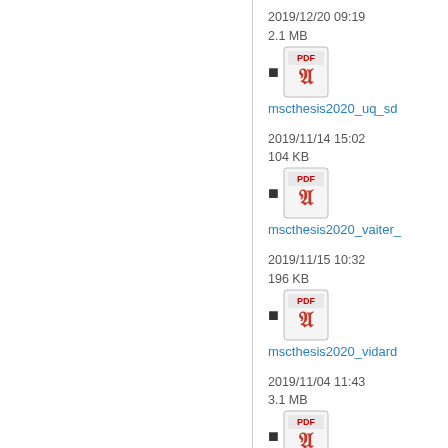2019/12/20 09:19
2.1 MB
mscthesis2020_uq_sd
2019/11/14 15:02
104 KB
mscthesis2020_vaiter_
2019/11/15 10:32
196 KB
mscthesis2020_vidard
2019/11/04 11:43
3.1 MB
mscthesis2020_zahm_
2019/11/04 11:26
1.1 MB